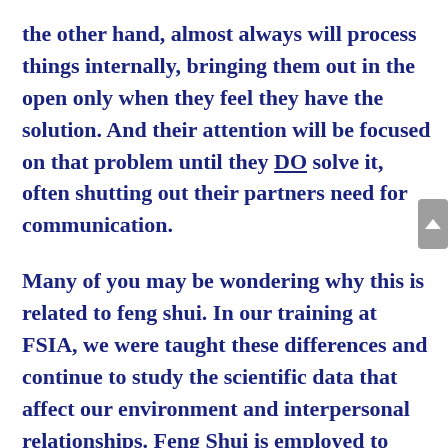the other hand, almost always will process things internally, bringing them out in the open only when they feel they have the solution.  And their attention will be focused on that problem until they DO solve it, often shutting out their partners need for communication.
Many of you may be wondering why this is related to feng shui.  In our training at FSIA, we were taught these differences and continue to study the scientific data that affect our environment and interpersonal relationships.  Feng Shui is employed to improve lives, to improve